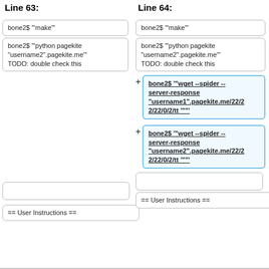Line 63:
Line 64:
bone2$ '"make"'
bone2$ '"make"'
bone2$ '"python pagekite "username2".pagekite.me"'
TODO: double check this
bone2$ '"python pagekite "username2".pagekite.me"'
TODO: double check this
bone2$ '"wget --spider --server-response "username1".pagekite.me/22/22/22/0/2/tt ""'
bone2$ '"wget --spider --server-response "username2".pagekite.me/22/22/22/0/2/tt ""'
== User Instructions ==
== User Instructions ==